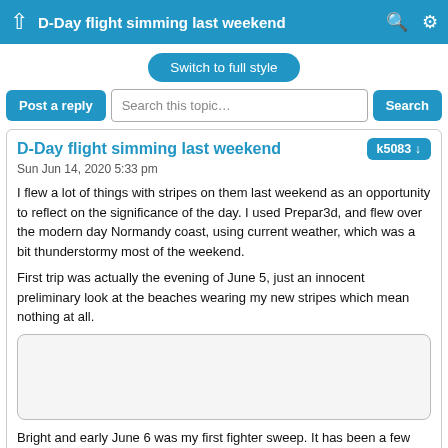D-Day flight simming last weekend
Switch to full style
Post a reply   Search this topic…   Search
D-Day flight simming last weekend
Sun Jun 14, 2020 5:33 pm
I flew a lot of things with stripes on them last weekend as an opportunity to reflect on the significance of the day. I used Prepar3d, and flew over the modern day Normandy coast, using current weather, which was a bit thunderstormy most of the weekend.
First trip was actually the evening of June 5, just an innocent preliminary look at the beaches wearing my new stripes which mean nothing at all.
[Figure (photo): Placeholder image area (screenshot of flight sim content)]
Bright and early June 6 was my first fighter sweep. It has been a few years since I have flown a D-Day mission and I forgot how far from England the beaches were. They were barely within the operational radius of a Spitfire which was a key criterion for the eligible landing zone.
[Figure (photo): Placeholder image area (screenshot of flight sim content)]